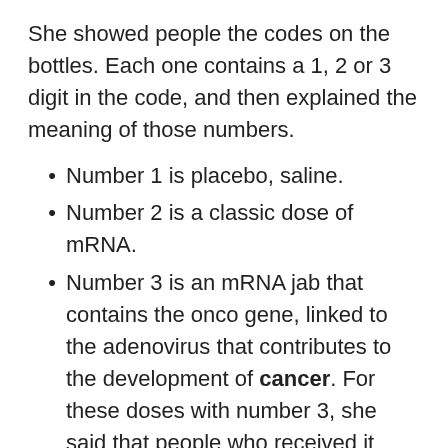She showed people the codes on the bottles. Each one contains a 1, 2 or 3 digit in the code, and then explained the meaning of those numbers.
Number 1 is placebo, saline.
Number 2 is a classic dose of mRNA.
Number 3 is an mRNA jab that contains the onco gene, linked to the adenovirus that contributes to the development of cancer. For these doses with number 3, she said that people who received it within 2 years will have soft tissue cancer.
She said, she personally witnessed the